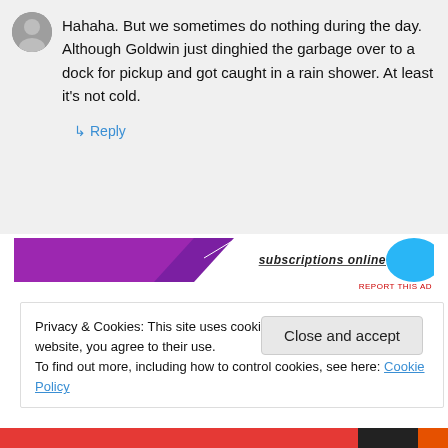Hahaha. But we sometimes do nothing during the day. Although Goldwin just dinghied the garbage over to a dock for pickup and got caught in a rain shower. At least it's not cold.
↳ Reply
[Figure (infographic): Partial advertisement banner with purple graphic on left and text 'subscriptions online' on right with cyan logo element]
REPORT THIS AD
Privacy & Cookies: This site uses cookies. By continuing to use this website, you agree to their use.
To find out more, including how to control cookies, see here: Cookie Policy
Close and accept